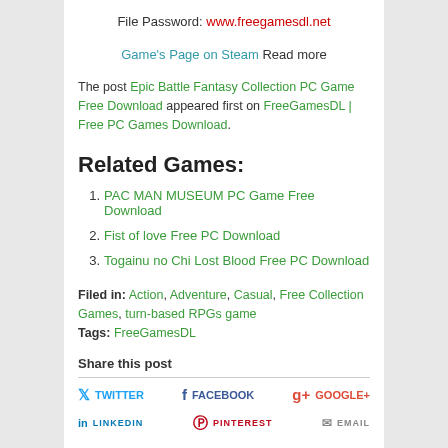File Password: www.freegamesdl.net
Game's Page on Steam Read more
The post Epic Battle Fantasy Collection PC Game Free Download appeared first on FreeGamesDL | Free PC Games Download.
Related Games:
1. PAC MAN MUSEUM PC Game Free Download
2. Fist of love Free PC Download
3. Togainu no Chi Lost Blood Free PC Download
Filed in: Action, Adventure, Casual, Free Collection Games, turn-based RPGs game
Tags: FreeGamesDL
Share this post
TWITTER  FACEBOOK  GOOGLE+